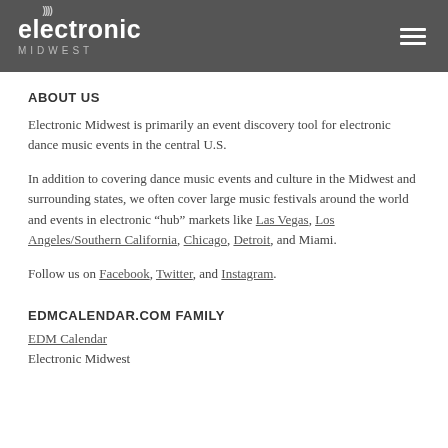electronic MIDWEST
ABOUT US
Electronic Midwest is primarily an event discovery tool for electronic dance music events in the central U.S.
In addition to covering dance music events and culture in the Midwest and surrounding states, we often cover large music festivals around the world and events in electronic "hub" markets like Las Vegas, Los Angeles/Southern California, Chicago, Detroit, and Miami.
Follow us on Facebook, Twitter, and Instagram.
EDMCALENDAR.COM FAMILY
EDM Calendar
Electronic Midwest